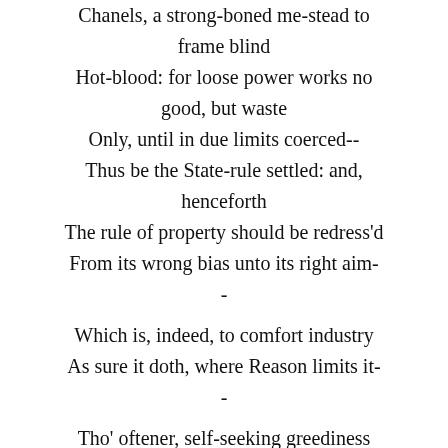Chanels, a strong-boned me-stead to frame blind Hot-blood: for loose power works no good, but waste Only, until in due limits coerced-- Thus be the State-rule settled: and, henceforth The rule of property should be redress'd From its wrong bias unto its right aim- - Which is, indeed, to comfort industry As sure it doth, where Reason limits it- - Tho' oftener, self-seeking greediness Hath wrested it, to pamper idleness: